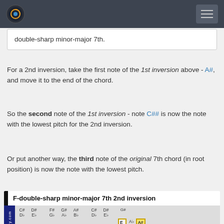Music theory site header with logo and navigation
double-sharp minor-major 7th.
For a 2nd inversion, take the first note of the 1st inversion above - A#, and move it to the end of the chord.
So the second note of the 1st inversion - note C## is now the note with the lowest pitch for the 2nd inversion.
Or put another way, the third note of the original 7th chord (in root position) is now the note with the lowest pitch.
[Figure (illustration): Piano keyboard diagram showing F-double-sharp minor-major 7th 2nd inversion with highlighted keys Ex, Ab, A# and note labels C#/Db, D#/Eb, F#/Gb, G#/Ab, A#/Bb, C#/Db, D#/Eb, G#, Ex, Ab, A#]